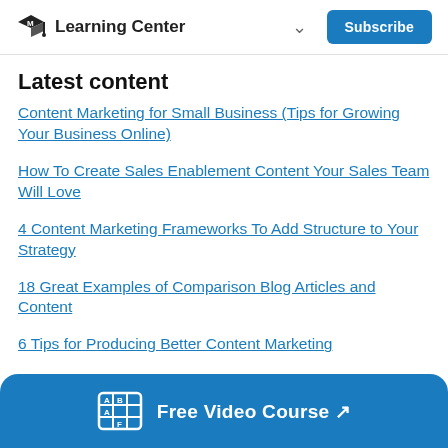Learning Center | Subscribe
Latest content
Content Marketing for Small Business (Tips for Growing Your Business Online)
How To Create Sales Enablement Content Your Sales Team Will Love
4 Content Marketing Frameworks To Add Structure to Your Strategy
18 Great Examples of Comparison Blog Articles and Content
6 Tips for Producing Better Content Marketing
Free Video Course ↗